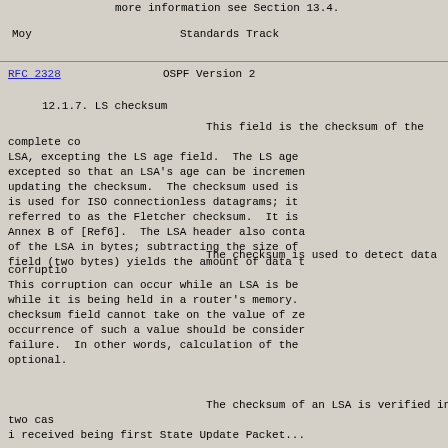more information see Section 13.4.
Moy                         Standards Track
RFC 2328                    OSPF Version 2
12.1.7.  LS checksum
This field is the checksum of the complete contents of the LSA, excepting the LS age field.  The LS age field is excepted so that an LSA's age can be incremented without updating the checksum.  The checksum used is the same that is used for ISO connectionless datagrams; it is commonly referred to as the Fletcher checksum.  It is described in Annex B of [Ref6].  The LSA header also contains the length of the LSA in bytes; subtracting the size of the LS age field (two bytes) yields the amount of data to checksum.
The checksum is used to detect data corruption. This corruption can occur while an LSA is being flooded, or while it is being held in a router's memory.  The LS checksum field cannot take on the value of zero; the occurrence of such a value should be considered a router failure.  In other words, calculation of the LS checksum is optional.
The checksum of an LSA is verified in two cases: i received being first State Update Packet...